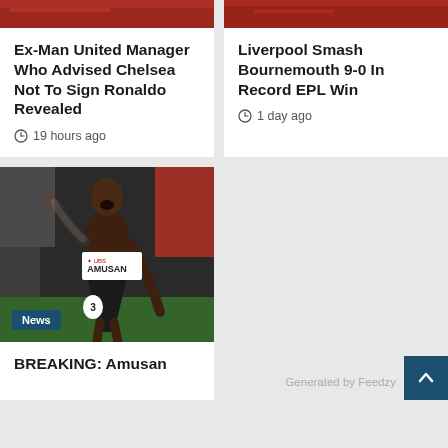[Figure (photo): Cropped sports image top strip, red/dark tones, left card]
Ex-Man United Manager Who Advised Chelsea Not To Sign Ronaldo Revealed
19 hours ago
[Figure (photo): Cropped sports image top strip, red/dark tones, right card]
Liverpool Smash Bournemouth 9-0 In Record EPL Win
1 day ago
[Figure (photo): Athlete Tobi Amusan celebrating at a track event, wearing bib with AMUSAN, number 3 on thigh, UBS sponsor visible]
News
BREAKING: Amusan